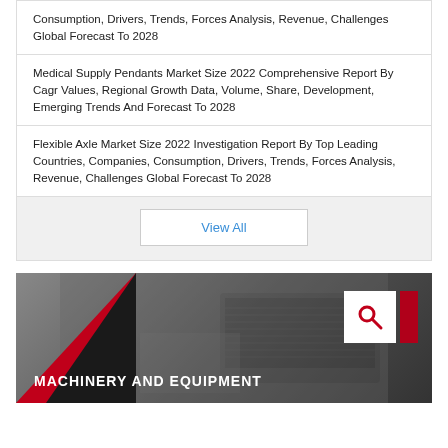Consumption, Drivers, Trends, Forces Analysis, Revenue, Challenges Global Forecast To 2028
Medical Supply Pendants Market Size 2022 Comprehensive Report By Cagr Values, Regional Growth Data, Volume, Share, Development, Emerging Trends And Forecast To 2028
Flexible Axle Market Size 2022 Investigation Report By Top Leading Countries, Companies, Consumption, Drivers, Trends, Forces Analysis, Revenue, Challenges Global Forecast To 2028
View All
[Figure (photo): Banner image with dark/grayscale background showing a laptop, with red and black triangular overlay in bottom-left corner, a white search icon box and red vertical bar in the top-right, and bold white text 'MACHINERY AND EQUIPMENT' in the lower-left.]